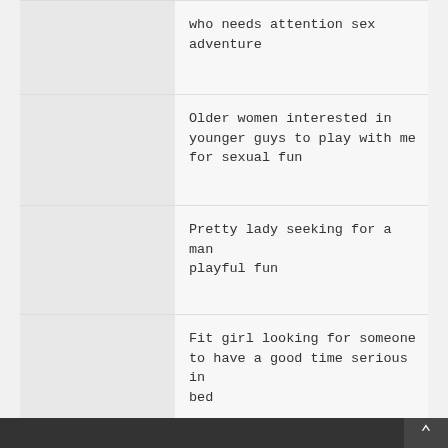who needs attention sex adventure
Older women interested in younger guys to play with me for sexual fun
Pretty lady seeking for a man playful fun
Fit girl looking for someone to have a good time serious in bed
^